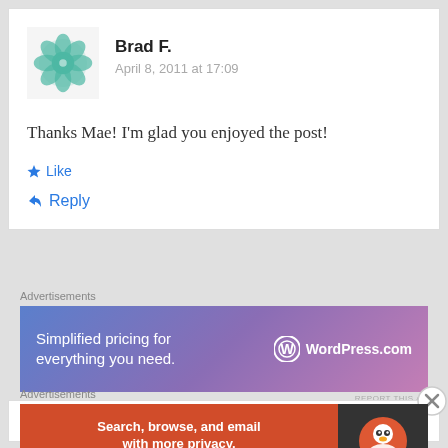Brad F.
April 8, 2011 at 17:09
Thanks Mae! I'm glad you enjoyed the post!
Like
Reply
Advertisements
[Figure (other): WordPress.com advertisement banner: 'Simplified pricing for everything you need. WordPress.com']
REPORT THIS AD
Advertisements
[Figure (other): DuckDuckGo advertisement banner: 'Search, browse, and email with more privacy. All in One Free App']